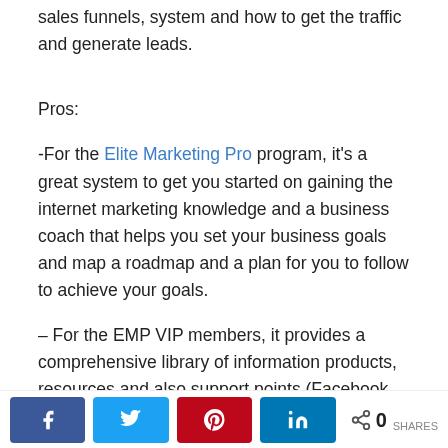sales funnels, system and how to get the traffic and generate leads.
Pros:
-For the Elite Marketing Pro program, it’s a great system to get you started on gaining the internet marketing knowledge and a business coach that helps you set your business goals and map a roadmap and a plan for you to follow to achieve your goals.
– For the EMP VIP members, it provides a comprehensive library of information products, resources and also support points (Facebook Mastermind Group, Ignition Coaching Program, Daily Awesome Calls, Weekly Webinars, and Customer Support), where you can learn the various social media strategies in depth
0 SHARES